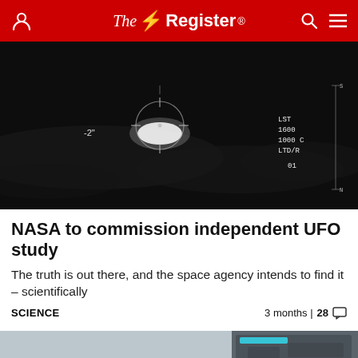The Register
[Figure (photo): Night vision or thermal camera footage of an unidentified aerial phenomenon (UAP/UFO), dark background with crosshair targeting overlay and telemetry data showing LST, altitude readings on the right side]
NASA to commission independent UFO study
The truth is out there, and the space agency intends to find it – scientifically
SCIENCE   3 months | 28 [comment icon]
[Figure (photo): Science fiction robot or mech suit with blue glowing accents against a grey sky background with desert vegetation]